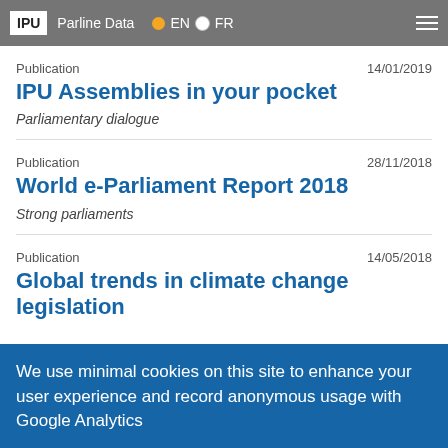IPU | Parline Data | EN | FR
Publication    14/01/2019
IPU Assemblies in your pocket
Parliamentary dialogue
Publication    28/11/2018
World e-Parliament Report 2018
Strong parliaments
Publication    14/05/2018
Global trends in climate change legislation
We use minimal cookies on this site to enhance your user experience and record anonymous usage with Google Analytics